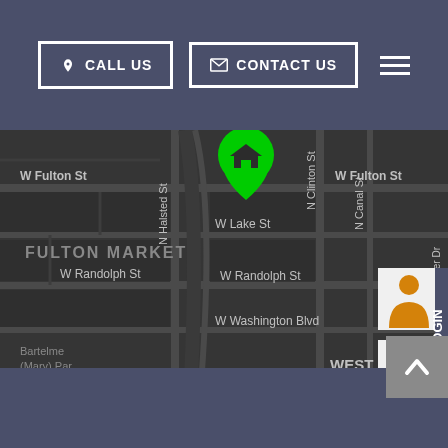CALL US | CONTACT US
[Figure (map): Google Map showing Fulton Market area in Chicago, IL with a green home location pin. Map shows streets including W Fulton St, W Lake St, W Randolph St, W Washington Blvd, N Halsted St, N Clinton St, N Canal St. Shows FULTON MARKET label, Bartelme (Mary) Park, and WEST LOOP GATE area. Login button and zoom controls visible on right side. Google branding and attribution at bottom.]